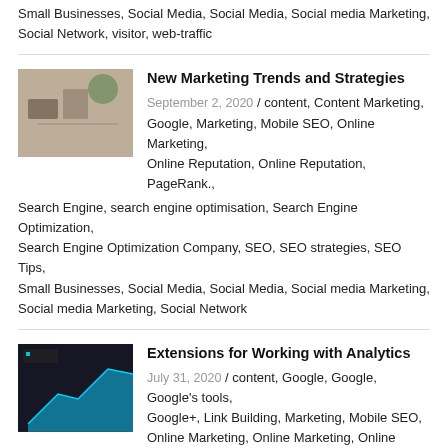Small Businesses, Social Media, Social Media, Social media Marketing, Social Network, visitor, web-traffic
New Marketing Trends and Strategies
September 2, 2020 / content, Content Marketing, Google, Marketing, Mobile SEO, Online Marketing, Online Reputation, Online Reputation, PageRank., Search Engine, search engine optimisation, Search Engine Optimization, Search Engine Optimization Company, SEO, SEO strategies, SEO Tips, Small Businesses, Social Media, Social Media, Social media Marketing, Social media Marketing, Social Network
Extensions for Working with Analytics
July 31, 2020 / content, Google, Google, Google's tools, Google+, Link Building, Marketing, Mobile SEO, Online Marketing, Online Marketing, Online Reputation, Online Reputation, PageRank., Search Engine, Search Engine Optimization, SEO, SEO, SEO strategies, SEO Tips, Social Media, Social media Marketing, Tips, web-traffic